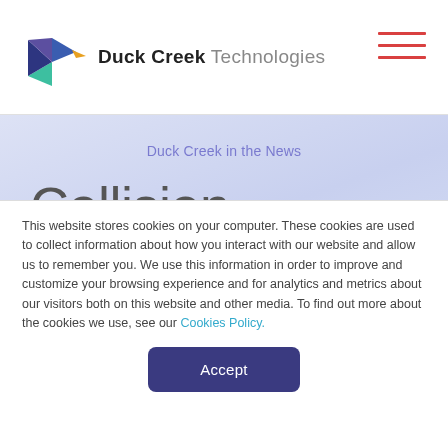Duck Creek Technologies
Duck Creek in the News
Collision Sciences, a Provider
This website stores cookies on your computer. These cookies are used to collect information about how you interact with our website and allow us to remember you. We use this information in order to improve and customize your browsing experience and for analytics and metrics about our visitors both on this website and other media. To find out more about the cookies we use, see our Cookies Policy.